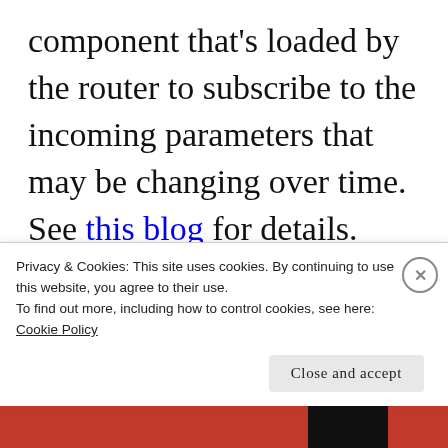component that's loaded by the router to subscribe to the incoming parameters that may be changing over time. See this blog for details.

The ActivatedRoute object will contain all parameters that are being passed to this component. If you
Privacy & Cookies: This site uses cookies. By continuing to use this website, you agree to their use.
To find out more, including how to control cookies, see here: Cookie Policy
Close and accept